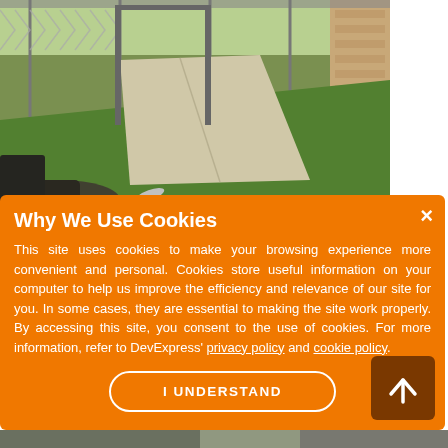[Figure (photo): Outdoor photo showing a fenced area with green grass, a concrete sidewalk/path, chain-link fence gate, and debris/scrap metal in the foreground on the left. Brick building visible on the right edge.]
Why We Use Cookies
This site uses cookies to make your browsing experience more convenient and personal. Cookies store useful information on your computer to help us improve the efficiency and relevance of our site for you. In some cases, they are essential to making the site work properly. By accessing this site, you consent to the use of cookies. For more information, refer to DevExpress' privacy policy and cookie policy.
I UNDERSTAND